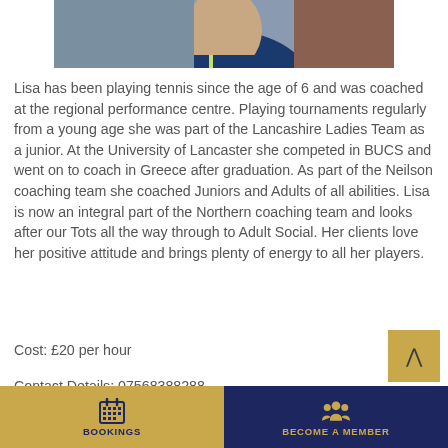[Figure (photo): Photo of Lisa, a tennis coach wearing a blue HEAD jacket, cropped at the top of the page]
Lisa has been playing tennis since the age of 6 and was coached at the regional performance centre. Playing tournaments regularly from a young age she was part of the Lancashire Ladies Team as a junior. At the University of Lancaster she competed in BUCS and went on to coach in Greece after graduation. As part of the Neilson coaching team she coached Juniors and Adults of all abilities. Lisa is now an integral part of the Northern coaching team and looks after our Tots all the way through to Adult Social. Her clients love her positive attitude and brings plenty of energy to all her players.
Cost: £20 per hour
Contact Details: 07568388288
BOOKINGS  BECOME A MEMBER